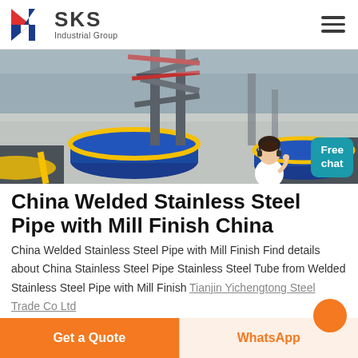SKS Industrial Group
[Figure (photo): Industrial stainless steel pipes and equipment in a factory setting with blue and yellow circular bases]
China Welded Stainless Steel Pipe with Mill Finish China
China Welded Stainless Steel Pipe with Mill Finish Find details about China Stainless Steel Pipe Stainless Steel Tube from Welded Stainless Steel Pipe with Mill Finish Tianjin Yichengtong Steel Trade Co Ltd
Get a Quote | WhatsApp